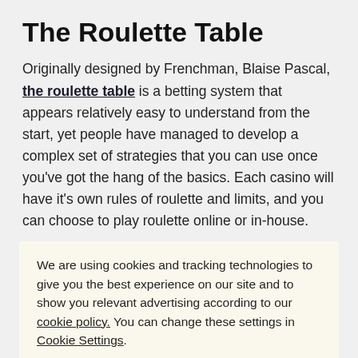The Roulette Table
Originally designed by Frenchman, Blaise Pascal, the roulette table is a betting system that appears relatively easy to understand from the start, yet people have managed to develop a complex set of strategies that you can use once you've got the hang of the basics. Each casino will have it's own rules of roulette and limits, and you can choose to play roulette online or in-house.
Master The Roulette Wheel
Learn the basics, the table, betting strategies and more...
We are using cookies and tracking technologies to give you the best experience on our site and to show you relevant advertising according to our cookie policy. You can change these settings in Cookie Settings.
Accept